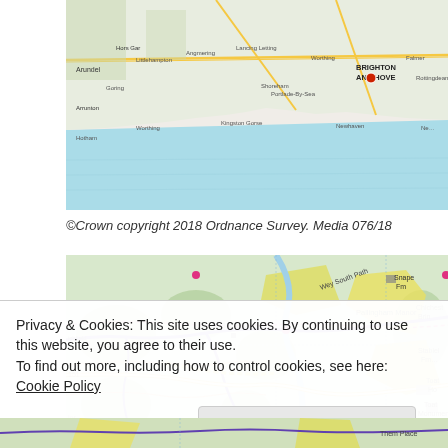[Figure (map): Coastal map of Sussex area showing Brighton and Hove on the English Channel coast, with surrounding towns including Worthing, Littlehampton, Portlade-by-Sea, Shoreham-by-Sea. Blue sea area to the south, green land to the north. Red dot marks Brighton and Hove.]
©Crown copyright 2018 Ordnance Survey. Media 076/18
[Figure (map): Detailed Ordnance Survey topographic map showing rural area around Bedham, Pallingham Manor Fm, Pallingham Quay Fm, Toat Ho, Toat Monument, Snape Fm, Chichester area. Features walking paths marked in purple/pink, yellow shaded agricultural areas, contour lines, woodland areas in green. South Downs Way path visible.]
Privacy & Cookies: This site uses cookies. By continuing to use this website, you agree to their use.
To find out more, including how to control cookies, see here: Cookie Policy
[Figure (map): Bottom strip of detailed Ordnance Survey topographic map showing continuation of countryside area with fields, paths and place names.]